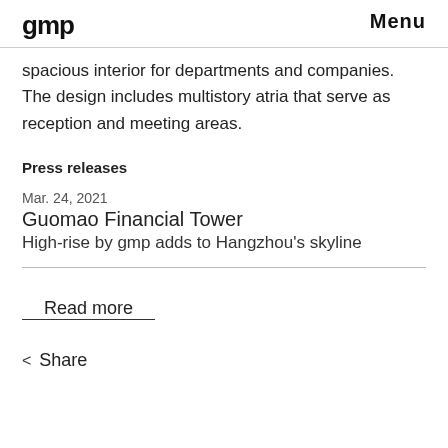gmp   Menu
spacious interior for departments and companies. The design includes multistory atria that serve as reception and meeting areas.
Press releases
Mar. 24, 2021
Guomao Financial Tower
High-rise by gmp adds to Hangzhou's skyline
Read more
< Share